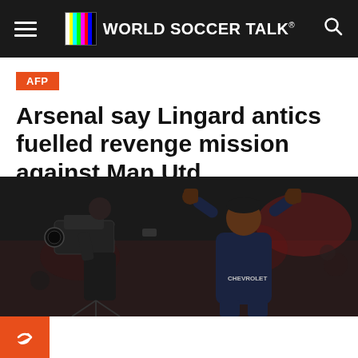WORLD SOCCER TALK
AFP
Arsenal say Lingard antics fuelled revenge mission against Man Utd
by AFP  March 11, 2019
[Figure (photo): Jesse Lingard of Manchester United celebrating with arms raised, in dark blue kit, with a TV camera operator in the foreground]